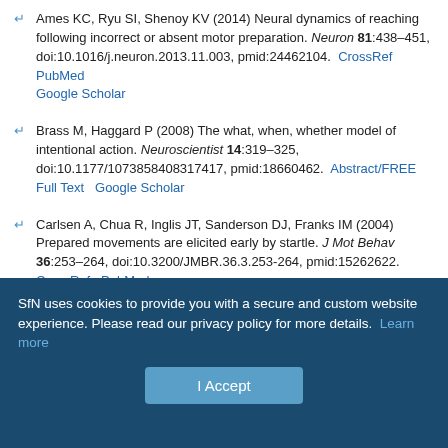Ames KC, Ryu SI, Shenoy KV (2014) Neural dynamics of reaching following incorrect or absent motor preparation. Neuron 81:438–451, doi:10.1016/j.neuron.2013.11.003, pmid:24462104. CrossRef PubMed Google Scholar
Brass M, Haggard P (2008) The what, when, whether model of intentional action. Neuroscientist 14:319–325, doi:10.1177/1073858408317417, pmid:18660462. Abstract/FREE Full Text Google Scholar
Carlsen A, Chua R, Inglis JT, Sanderson DJ, Franks IM (2004) Prepared movements are elicited early by startle. J Mot Behav 36:253–264, doi:10.3200/JMBR.36.3.253-264, pmid:15262622. CrossRef PubMed Google Scholar
Carlsen AN, Almeida QJ, Franks IM (2013) Using a startling acoustic stimulus to investigate underlying mechanisms of bradykinesia in
SfN uses cookies to provide you with a secure and custom website experience. Please read our privacy policy for more details. Learn more